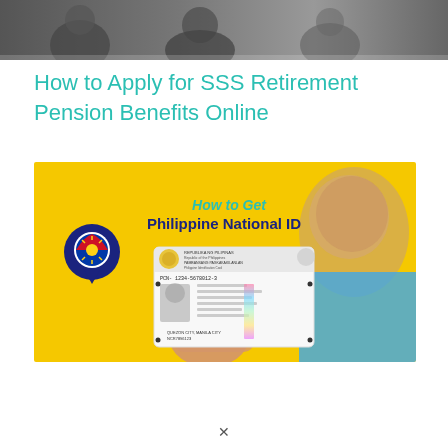[Figure (photo): Top portion of a photo showing people, cropped at the top of the page]
How to Apply for SSS Retirement Pension Benefits Online
[Figure (infographic): Infographic with yellow background showing a person holding a Philippine National ID card. Text reads 'How to Get Philippine National ID' with a map pin icon featuring the Philippine flag.]